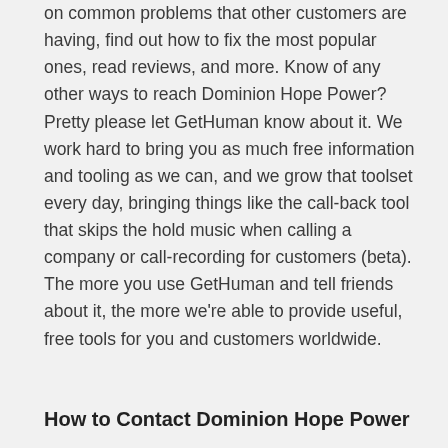on common problems that other customers are having, find out how to fix the most popular ones, read reviews, and more. Know of any other ways to reach Dominion Hope Power? Pretty please let GetHuman know about it. We work hard to bring you as much free information and tooling as we can, and we grow that toolset every day, bringing things like the call-back tool that skips the hold music when calling a company or call-recording for customers (beta). The more you use GetHuman and tell friends about it, the more we're able to provide useful, free tools for you and customers worldwide.
How to Contact Dominion Hope Power